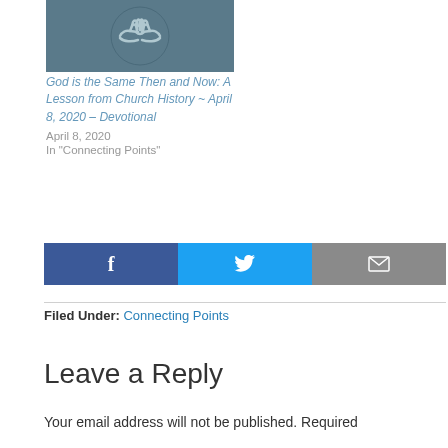[Figure (illustration): Circular handshake icon on dark teal background]
God is the Same Then and Now: A Lesson from Church History ~ April 8, 2020 – Devotional
April 8, 2020
In "Connecting Points"
[Figure (infographic): Social share bar with Facebook, Twitter, and Email buttons]
Filed Under: Connecting Points
Leave a Reply
Your email address will not be published. Required